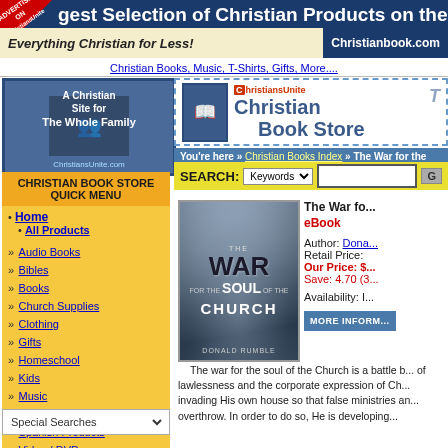gest Selection of Christian Products on the Web
Everything Christian for Less! Christianbook.com
Christian Books, Music, T-Shirts, Gifts, More....
ChristiansUnite Christian Book Store
You're here » Christian Books Index » The War for the S...
SEARCH: Keywords
[Figure (logo): ChristiansUnite.com A Christian Site for The Whole Family logo]
CHRISTIAN BOOK STORE QUICK MENU
• Home
• All Products
» Audio Books
» Bibles
» Books
» Church Supplies
» Clothing
» Gifts
» Homeschool
» Kids
» Music
» Software
» Spanish Products
» Video / DVD
[Figure (photo): Book cover: The War for the Soul of the Church by Donald Rumble]
The War fo... eBook
Author: Dona...
Retail Price:
Our Price: $...
Save: 4.70 (3...
Availability: I...
The war for the soul of the Church is a battle b... of lawlessness and the corporate expression of Ch... invading His own house so that false ministries an... overthrow. In order to do so, He is developing...